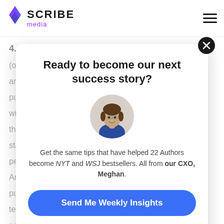SCRIBE media
4. Traditional publishers make an offer (or not) and...publ...will...that...stag...perc...An "o...publ...term...acro...rate
Ready to become our next success story?
[Figure (photo): Circular avatar photo of a woman (Meghan, CXO) smiling, with dark hair, wearing a blue top, against a light gray background]
Get the same tips that have helped 22 Authors become NYT and WSJ bestsellers. All from our CXO, Meghan.
Send Me Weekly Insights
No thanks.